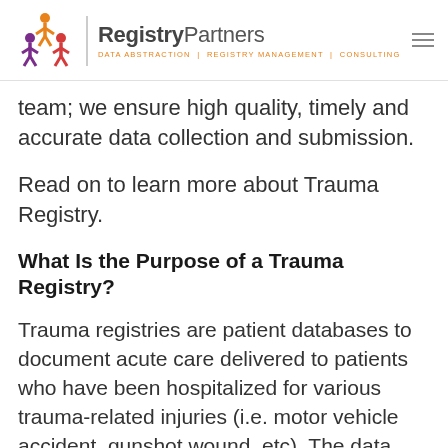RegistryPartners — DATA ABSTRACTION | REGISTRY MANAGEMENT | CONSULTING
team; we ensure high quality, timely and accurate data collection and submission.
Read on to learn more about Trauma Registry.
What Is the Purpose of a Trauma Registry?
Trauma registries are patient databases to document acute care delivered to patients who have been hospitalized for various trauma-related injuries (i.e. motor vehicle accident, gunshot wound, etc). The data being collected in a Trauma Registry is used to improve the